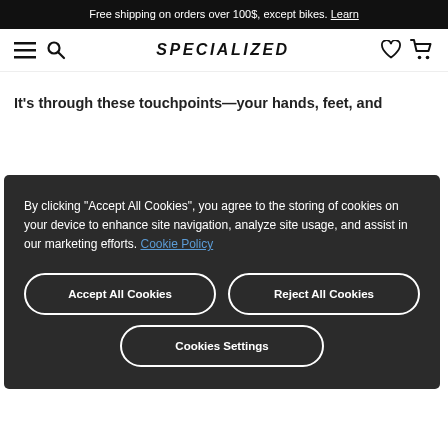Free shipping on orders over 100$, except bikes. Learn
[Figure (logo): Specialized brand logo and navigation bar with hamburger menu, search icon, heart icon, and cart icon]
It's through these touchpoints—your hands, feet, and
By clicking "Accept All Cookies", you agree to the storing of cookies on your device to enhance site navigation, analyze site usage, and assist in our marketing efforts. Cookie Policy
Accept All Cookies
Reject All Cookies
Cookies Settings